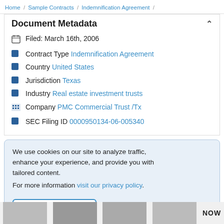Home / Sample Contracts / Indemnification Agreement /
Document Metadata
Filed: March 16th, 2006
Contract Type Indemnification Agreement
Country United States
Jurisdiction Texas
Industry Real estate investment trusts
Company PMC Commercial Trust /Tx
SEC Filing ID 0000950134-06-005340
We use cookies on our site to analyze traffic, enhance your experience, and provide you with tailored content.
For more information visit our privacy policy.
Accept All Cookies